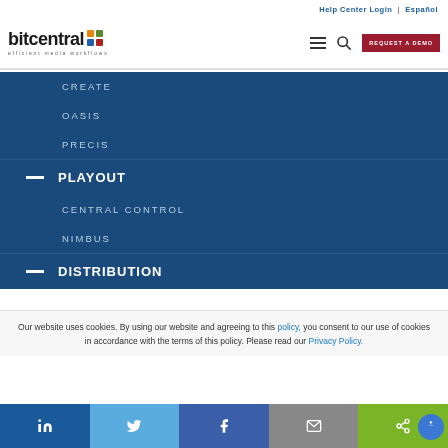Help Center Login | Español
[Figure (logo): Bitcentral logo with colored grid dots and tagline 'efficient media workflows']
CREATE
OASIS
PRECIS
PLAYOUT
CENTRAL CONTROL
NIMBUS
DISTRIBUTION
Our website uses cookies. By using our website and agreeing to this policy, you consent to our use of cookies in accordance with the terms of this policy. Please read our Privacy Policy.
[Figure (infographic): Social share buttons: LinkedIn, Twitter, Facebook, Email, Share, Accessibility]